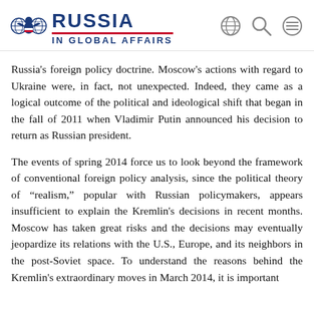RUSSIA IN GLOBAL AFFAIRS
Russia’s foreign policy doctrine. Moscow’s actions with regard to Ukraine were, in fact, not unexpected. Indeed, they came as a logical outcome of the political and ideological shift that began in the fall of 2011 when Vladimir Putin announced his decision to return as Russian president.
The events of spring 2014 force us to look beyond the framework of conventional foreign policy analysis, since the political theory of “realism,” popular with Russian policymakers, appears insufficient to explain the Kremlin’s decisions in recent months. Moscow has taken great risks and the decisions may eventually jeopardize its relations with the U.S., Europe, and its neighbors in the post-Soviet space. To understand the reasons behind the Kremlin’s extraordinary moves in March 2014, it is important